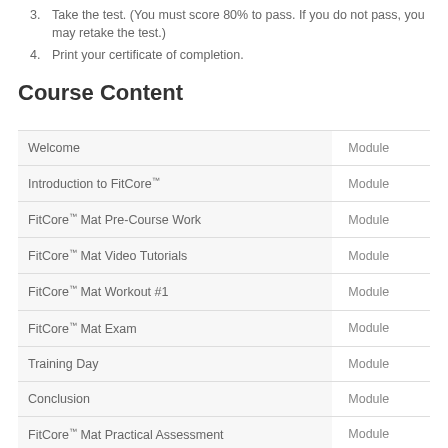3. Take the test. (You must score 80% to pass. If you do not pass, you may retake the test.)
4. Print your certificate of completion.
Course Content
|  |  |
| --- | --- |
| Welcome | Module |
| Introduction to FitCore™ | Module |
| FitCore™ Mat Pre-Course Work | Module |
| FitCore™ Mat Video Tutorials | Module |
| FitCore™ Mat Workout #1 | Module |
| FitCore™ Mat Exam | Module |
| Training Day | Module |
| Conclusion | Module |
| FitCore™ Mat Practical Assessment | Module |